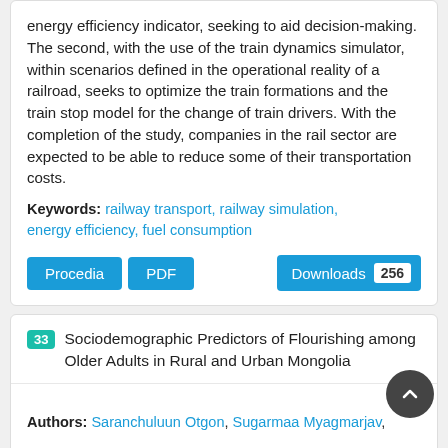energy efficiency indicator, seeking to aid decision-making. The second, with the use of the train dynamics simulator, within scenarios defined in the operational reality of a railroad, seeks to optimize the train formations and the train stop model for the change of train drivers. With the completion of the study, companies in the rail sector are expected to be able to reduce some of their transportation costs.
Keywords: railway transport, railway simulation, energy efficiency, fuel consumption
Procedia | PDF | Downloads 256
33 Sociodemographic Predictors of Flourishing among Older Adults in Rural and Urban Mongolia
Authors: Saranchuluun Otgon, Sugarmaa Myagmarjav,